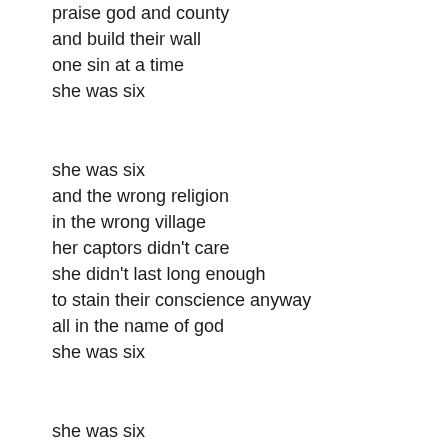praise god and county
and build their wall
one sin at a time
she was six

she was six
and the wrong religion
in the wrong village
her captors didn't care
she didn't last long enough
to stain their conscience anyway
all in the name of god
she was six

she was six
and on the wrong side of town